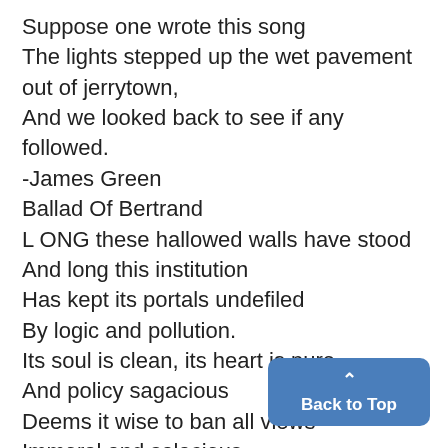Suppose one wrote this song
The lights stepped up the wet pavement out of jerrytown,
And we looked back to see if any followed.
-James Green
Ballad Of Bertrand
L ONG these hallowed walls have stood
And long this institution
Has kept its portals undefiled
By logic and pollution.
Its soul is clean, its heart is pure
And policy sagacious
Deems it wise to ban all views
Immoral and salacious.